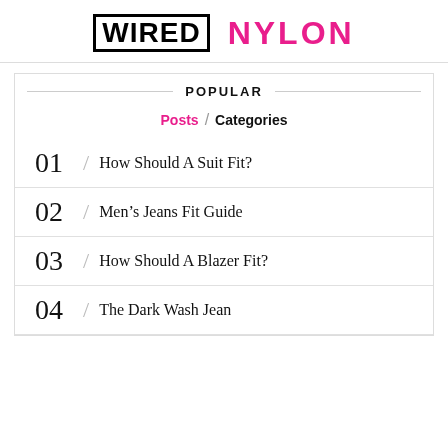[Figure (logo): WIRED and NYLON magazine logos side by side. WIRED in black bold text with a black border box, NYLON in hot pink bold text.]
POPULAR
Posts / Categories
01 / How Should A Suit Fit?
02 / Men’s Jeans Fit Guide
03 / How Should A Blazer Fit?
04 / The Dark Wash Jean